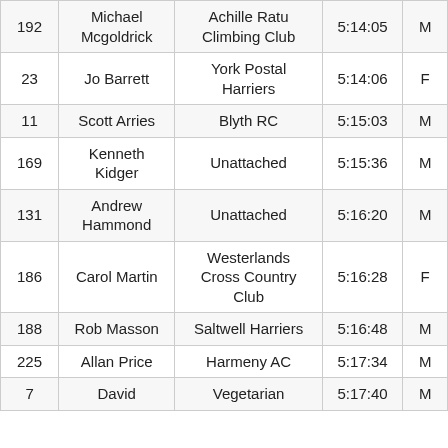| 192 | Michael Mcgoldrick | Achille Ratu Climbing Club | 5:14:05 | M |
| 23 | Jo Barrett | York Postal Harriers | 5:14:06 | F |
| 11 | Scott Arries | Blyth RC | 5:15:03 | M |
| 169 | Kenneth Kidger | Unattached | 5:15:36 | M |
| 131 | Andrew Hammond | Unattached | 5:16:20 | M |
| 186 | Carol Martin | Westerlands Cross Country Club | 5:16:28 | F |
| 188 | Rob Masson | Saltwell Harriers | 5:16:48 | M |
| 225 | Allan Price | Harmeny AC | 5:17:34 | M |
| 7 | David | Vegetarian | 5:17:40 | M |